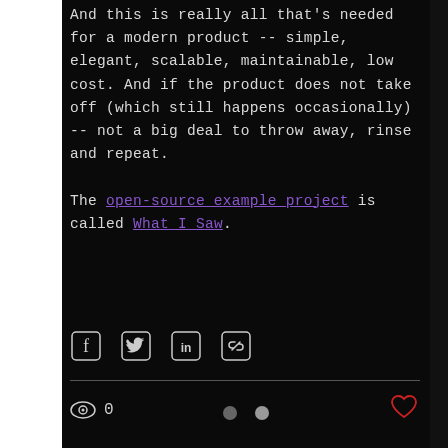And this is really all that's needed for a modern product -- simple, elegant, scalable, maintainable, low cost. And if the product does not take off (which still happens occasionally) -- not a big deal to throw away, rinse and repeat.

The open-source example project is called What I Saw.
[Figure (other): Social share icons: Facebook, Twitter, LinkedIn, and link/copy icons]
0 views, Post not marked as liked